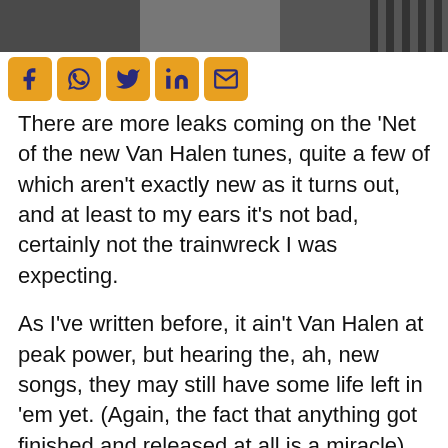[Figure (photo): Black and white photo at top of page, partially cropped]
[Figure (infographic): Social media share icons: Facebook, WhatsApp, Twitter, LinkedIn, Email — orange/yellow rounded square buttons with dark blue icons]
There are more leaks coming on the 'Net of the new Van Halen tunes, quite a few of which aren't exactly new as it turns out, and at least to my ears it's not bad, certainly not the trainwreck I was expecting.
As I've written before, it ain't Van Halen at peak power, but hearing the, ah, new songs, they may still have some life left in 'em yet. (Again, the fact that anything got finished and released at all is a miracle).